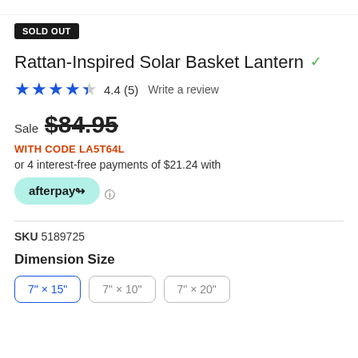[Figure (photo): Product thumbnail images strip at top of page]
SOLD OUT
Rattan-Inspired Solar Basket Lantern
4.4 (5)   Write a review
Sale $84.95
WITH CODE LA5T64L
or 4 interest-free payments of $21.24 with
[Figure (logo): Afterpay logo button]
SKU 5189725
Dimension Size
7" x 15"  7" x 10"  7" x 20"